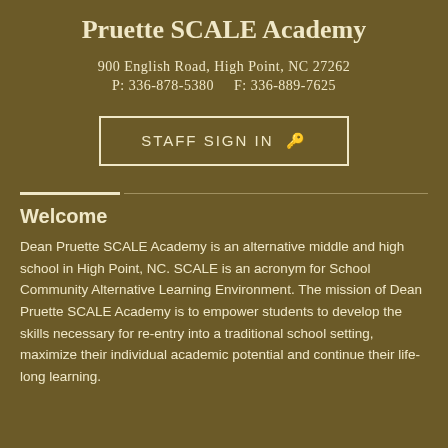Pruette SCALE Academy
900 English Road, High Point, NC 27262
P: 336-878-5380    F: 336-889-7625
[Figure (other): STAFF SIGN IN button with key icon, white border rectangle]
Welcome
Dean Pruette SCALE Academy is an alternative middle and high school in High Point, NC. SCALE is an acronym for School Community Alternative Learning Environment. The mission of Dean Pruette SCALE Academy is to empower students to develop the skills necessary for re-entry into a traditional school setting, maximize their individual academic potential and continue their life-long learning.